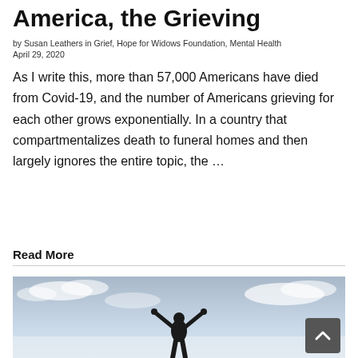America, the Grieving
by Susan Leathers in Grief, Hope for Widows Foundation, Mental Health
April 29, 2020
As I write this, more than 57,000 Americans have died from Covid-19, and the number of Americans grieving for each other grows exponentially. In a country that compartmentalizes death to funeral homes and then largely ignores the entire topic, the …
Read More
[Figure (photo): Silhouette of a person with arms raised wide open against a bright sky with clouds, viewed from behind, evoking hope or triumph.]